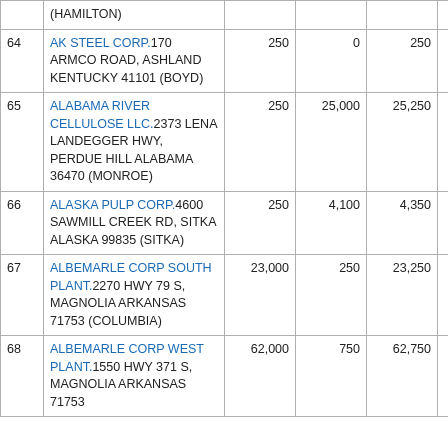| # | Facility Name & Address | Col3 | Col4 | Col5 | Col6 |
| --- | --- | --- | --- | --- | --- |
|  | (HAMILTON) |  |  |  |  |
| 64 | AK STEEL CORP.170 ARMCO ROAD, ASHLAND KENTUCKY 41101 (BOYD) | 250 | 0 | 250 | 3,500 |
| 65 | ALABAMA RIVER CELLULOSE LLC.2373 LENA LANDEGGER HWY, PERDUE HILL ALABAMA 36470 (MONROE) | 250 | 25,000 | 25,250 | 0 |
| 66 | ALASKA PULP CORP.4600 SAWMILL CREEK RD, SITKA ALASKA 99835 (SITKA) | 250 | 4,100 | 4,350 | 750 |
| 67 | ALBEMARLE CORP SOUTH PLANT.2270 HWY 79 S, MAGNOLIA ARKANSAS 71753 (COLUMBIA) | 23,000 | 250 | 23,250 | 0 |
| 68 | ALBEMARLE CORP WEST PLANT.1550 HWY 371 S, MAGNOLIA ARKANSAS 71753 | 62,000 | 750 | 62,750 | 0 |